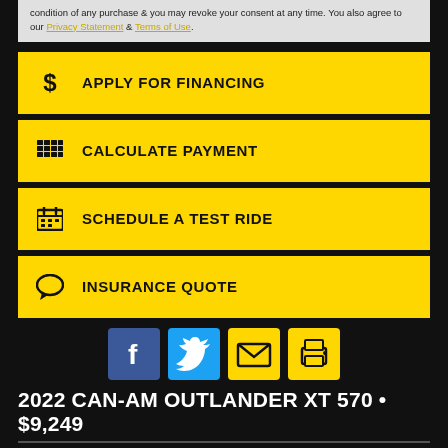condition of any purchase & you may revoke your consent at any time. You also agree to our Privacy Statement & Terms of Use.
APPLY FOR FINANCING
CALCULATE PAYMENT
SCHEDULE A TEST RIDE
INSURANCE QUOTE
[Figure (infographic): Social share icons: Facebook, Twitter, Email, Print]
2022 CAN-AM OUTLANDER XT 570 • $9,249
| Condition | New |
| --- | --- |